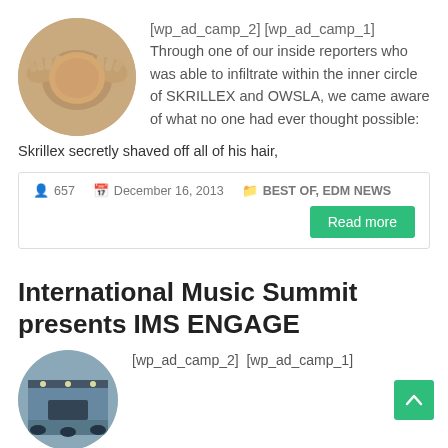[Figure (photo): Circular thumbnail photo of a person with hands on shaved head, viewed from behind/top]
[wp_ad_camp_2] [wp_ad_camp_1] Through one of our inside reporters who was able to infiltrate within the inner circle of SKRILLEX and OWSLA, we came aware of what no one had ever thought possible: Skrillex secretly shaved off all of his hair,
657   December 16, 2013   BEST OF, EDM NEWS
Read more
International Music Summit presents IMS ENGAGE
[Figure (photo): Circular thumbnail photo of an interior venue/hall]
[wp_ad_camp_2]  [wp_ad_camp_1]